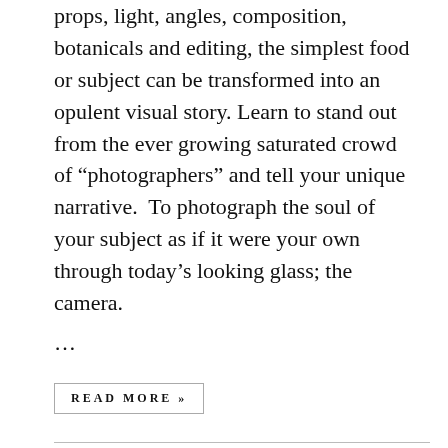props, light, angles, composition, botanicals and editing, the simplest food or subject can be transformed into an opulent visual story. Learn to stand out from the ever growing saturated crowd of “photographers” and tell your unique narrative.  To photograph the soul of your subject as if it were your own through today’s looking glass; the camera.
...
READ MORE »
Filed Under: Workshops
Tagged With: adobe, camera, editing, learn, lightroom, photography, photos, photoshop, toronto, workshop
CANCELLED DUE TO COURSE DARIGIM CEPPING